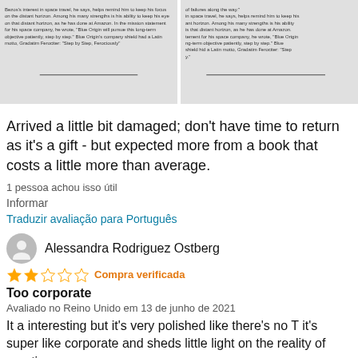[Figure (photo): Two side-by-side photos of a damaged book with text visible on the pages]
Arrived a little bit damaged; don't have time to return as it's a gift - but expected more from a book that costs a little more than average.
1 pessoa achou isso útil
Informar
Traduzir avaliação para Português
Alessandra Rodriguez Ostberg
Compra verificada
Too corporate
Avaliado no Reino Unido em 13 de junho de 2021
It a interesting but it's very polished like there's no T it's super like corporate and sheds little light on the reality of creating